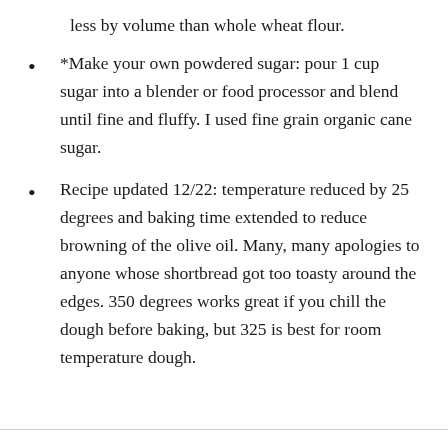less by volume than whole wheat flour.
*Make your own powdered sugar: pour 1 cup sugar into a blender or food processor and blend until fine and fluffy. I used fine grain organic cane sugar.
Recipe updated 12/22: temperature reduced by 25 degrees and baking time extended to reduce browning of the olive oil. Many, many apologies to anyone whose shortbread got too toasty around the edges. 350 degrees works great if you chill the dough before baking, but 325 is best for room temperature dough.